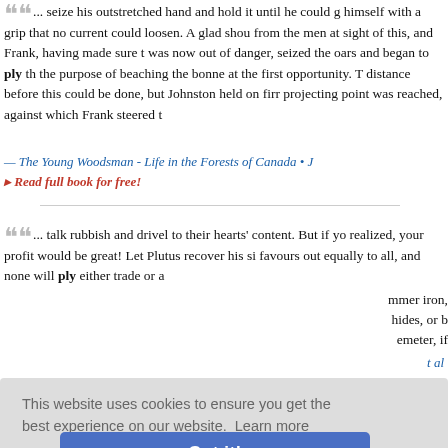"... seize his outstretched hand and hold it until he could g himself with a grip that no current could loosen. A glad shou from the men at sight of this, and Frank, having made sure t was now out of danger, seized the oars and began to ply th the purpose of beaching the bonne at the first opportunity. T distance before this could be done, but Johnston held on fir projecting point was reached, against which Frank steered t"
— The Young Woodsman - Life in the Forests of Canada • J
▸ Read full book for free!
"... talk rubbish and drivel to their hearts' content. But if yo realized, your profit would be great! Let Plutus recover his si favours out equally to all, and none will ply either trade or a ... hammer iron, hides, or b emeter, if"
— t al
This website uses cookies to ensure you get the best experience on our website. Learn more
Got it!
"... harnessed four iron-grey horses that would have done...